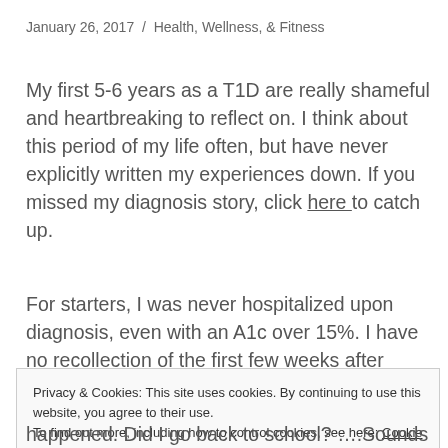January 26, 2017  /  Health, Wellness, & Fitness
My first 5-6 years as a T1D are really shameful and heartbreaking to reflect on. I think about this period of my life often, but have never explicitly written my experiences down. If you missed my diagnosis story, click here to catch up.
For starters, I was never hospitalized upon diagnosis, even with an A1c over 15%. I have no recollection of the first few weeks after diagnosis. I only remember my doctor coming back in the room
Privacy & Cookies: This site uses cookies. By continuing to use this website, you agree to their use.
To find out more, including how to control cookies, see here: Cookie Policy
Close and accept
happened. Did I go back to school? ….Sounds like I